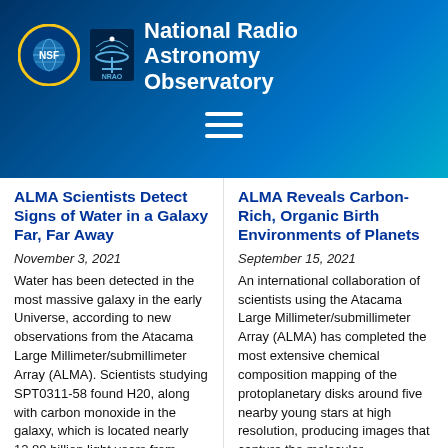[Figure (logo): NSF and NRAO logos with 'National Radio Astronomy Observatory' text on dark blue gradient header background]
ALMA Scientists Detect Signs of Water in a Galaxy Far, Far Away
November 3, 2021
Water has been detected in the most massive galaxy in the early Universe, according to new observations from the Atacama Large Millimeter/submillimeter Array (ALMA). Scientists studying SPT0311-58 found H20, along with carbon monoxide in the galaxy, which is located nearly 12.88 billion light years from Earth. Detection of these
ALMA Reveals Carbon-Rich, Organic Birth Environments of Planets
September 15, 2021
An international collaboration of scientists using the Atacama Large Millimeter/submillimeter Array (ALMA) has completed the most extensive chemical composition mapping of the protoplanetary disks around five nearby young stars at high resolution, producing images that capture the molecular composition